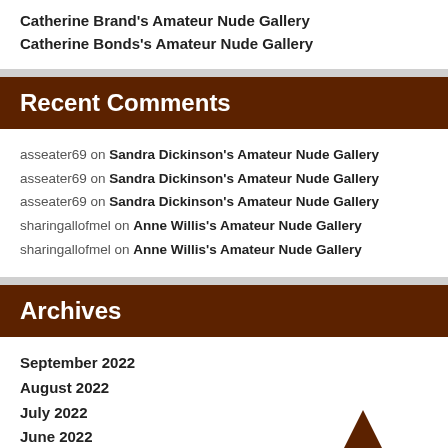Catherine Brand's Amateur Nude Gallery
Catherine Bonds's Amateur Nude Gallery
Recent Comments
asseater69 on Sandra Dickinson's Amateur Nude Gallery
asseater69 on Sandra Dickinson's Amateur Nude Gallery
asseater69 on Sandra Dickinson's Amateur Nude Gallery
sharingallofmel on Anne Willis's Amateur Nude Gallery
sharingallofmel on Anne Willis's Amateur Nude Gallery
Archives
September 2022
August 2022
July 2022
June 2022
May 2022
April 2022
[Figure (illustration): Brown triangle 'To Top' button in the bottom right corner]